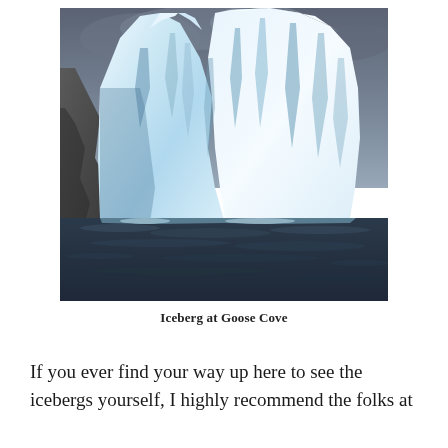[Figure (photo): A large iceberg with white and blue ice faces rising from dark choppy ocean water, with rocky cliffs visible on the left and dramatic cloudy sky in the background.]
Iceberg at Goose Cove
If you ever find your way up here to see the icebergs yourself, I highly recommend the folks at